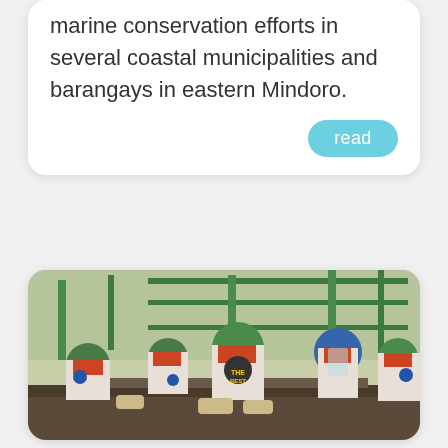marine conservation efforts in several coastal municipalities and barangays in eastern Mindoro.
read
[Figure (photo): Workers wearing green hard hats and orange-and-white uniforms working in an industrial setting. They are leaning over machinery or equipment. One person in the center wears a shirt that says 'THE BEST'. Some wear face shields. Industrial pipes and green structures are visible in the background.]